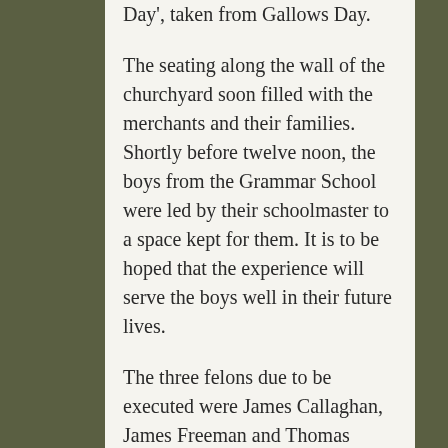Day', taken from Gallows Day.
The seating along the wall of the churchyard soon filled with the merchants and their families. Shortly before twelve noon, the boys from the Grammar School were led by their schoolmaster to a space kept for them. It is to be hoped that the experience will serve the boys well in their future lives.
The three felons due to be executed were James Callaghan, James Freeman and Thomas Byrne, all convicted of assault and highway robbery. They would have been led